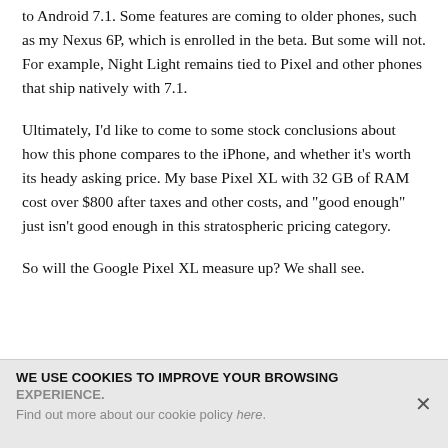to Android 7.1. Some features are coming to older phones, such as my Nexus 6P, which is enrolled in the beta. But some will not. For example, Night Light remains tied to Pixel and other phones that ship natively with 7.1.
Ultimately, I'd like to come to some stock conclusions about how this phone compares to the iPhone, and whether it's worth its heady asking price. My base Pixel XL with 32 GB of RAM cost over $800 after taxes and other costs, and "good enough" just isn't good enough in this stratospheric pricing category.
So will the Google Pixel XL measure up? We shall see.
WE USE COOKIES TO IMPROVE YOUR BROWSING EXPERIENCE. Find out more about our cookie policy here.